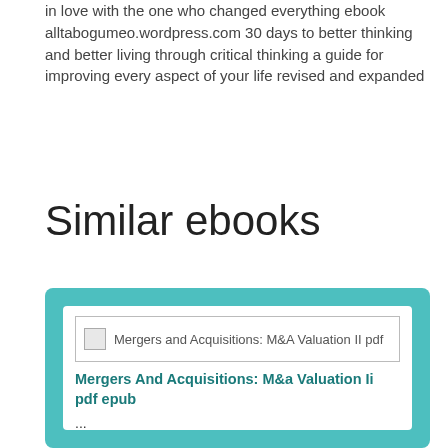in love with the one who changed everything ebook alltabogumeo.wordpress.com 30 days to better thinking and better living through critical thinking a guide for improving every aspect of your life revised and expanded
Similar ebooks
[Figure (other): Teal card containing a book listing for 'Mergers And Acquisitions: M&a Valuation Ii pdf epub' with a broken image placeholder showing 'Mergers and Acquisitions: M&A Valuation II pdf', a bold teal title link, and ellipsis text '...']
[Figure (illustration): Partially visible teal card showing a book cover for 'Sir Joshua Reynolds' Notes And Observations' with dark teal background and black corner triangle, with a teal scroll-to-top button]